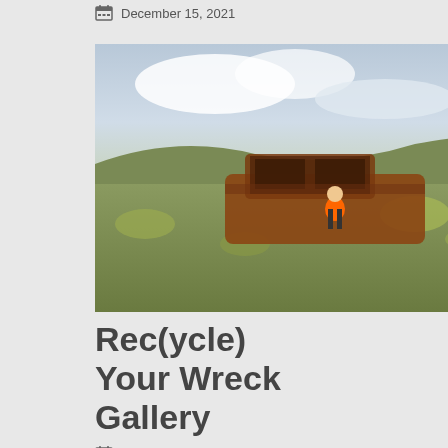December 15, 2021
[Figure (photo): A rusted, wrecked vintage car body sitting in open tundra landscape with a person in orange jacket standing next to it, cloudy sky in background]
Rec(ycle) Your Wreck Gallery
December 15, 2021
[Figure (photo): A scattered garbage dump with plastic waste and debris on open land with a forested hillside in the background]